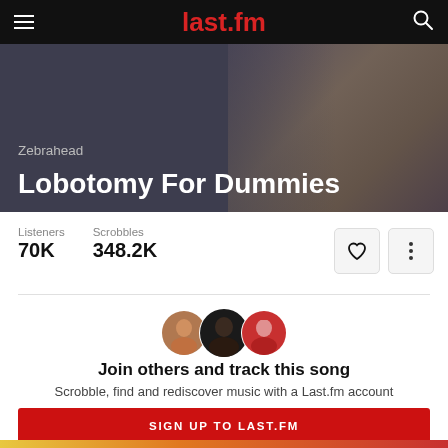last.fm
Lobotomy For Dummies
Zebrahead
Listeners 70K  Scrobbles 348.2K
[Figure (illustration): Three circular user avatar photos overlapping slightly]
Join others and track this song
Scrobble, find and rediscover music with a Last.fm account
SIGN UP TO LAST.FM